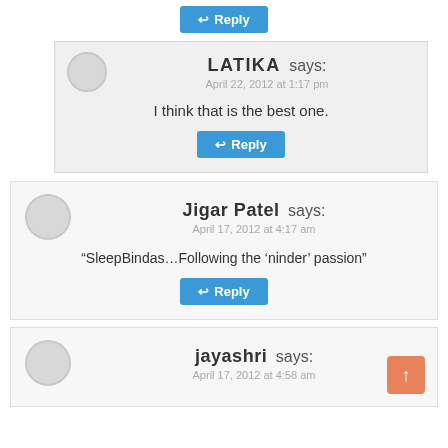Reply (button at top)
LATIKA says: April 22, 2012 at 1:17 pm
I think that is the best one.
Reply
Jigar Patel says: April 17, 2012 at 4:17 am
“SleepBindas…Following the ‘ninder’ passion”
Reply
jayashri says: April 17, 2012 at 4:58 am